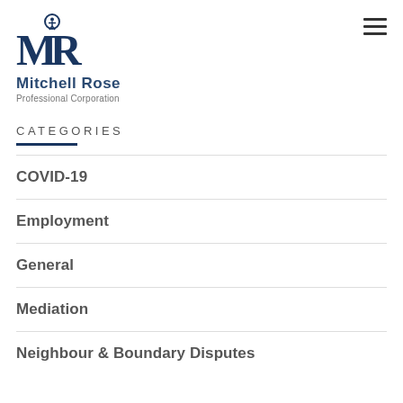[Figure (logo): Mitchell Rose Professional Corporation logo with stylized MR monogram and figure icon in dark navy blue]
CATEGORIES
COVID-19
Employment
General
Mediation
Neighbour & Boundary Disputes